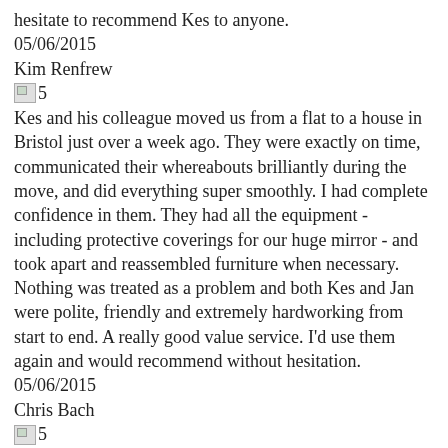hesitate to recommend Kes to anyone.
05/06/2015
Kim Renfrew
[Figure (other): Broken image icon with '5' label indicating a 5-star rating]
Kes and his colleague moved us from a flat to a house in Bristol just over a week ago. They were exactly on time, communicated their whereabouts brilliantly during the move, and did everything super smoothly. I had complete confidence in them. They had all the equipment - including protective coverings for our huge mirror - and took apart and reassembled furniture when necessary. Nothing was treated as a problem and both Kes and Jan were polite, friendly and extremely hardworking from start to end. A really good value service. I'd use them again and would recommend without hesitation.
05/06/2015
Chris Bach
[Figure (other): Broken image icon with '5' label indicating a 5-star rating]
I needed to move from London to Bristol. The company owner, Kes arrived on time, was very friendly and hard working. With his help the move vent extremely smoothly and much less stressful than expected. I would always book his service again.
18/05/2015
Sophie Hooper
[Figure (other): Broken image icon with '5' label indicating a 5-star rating]
Kes was fantastic. Moving house is really stressful but he made it